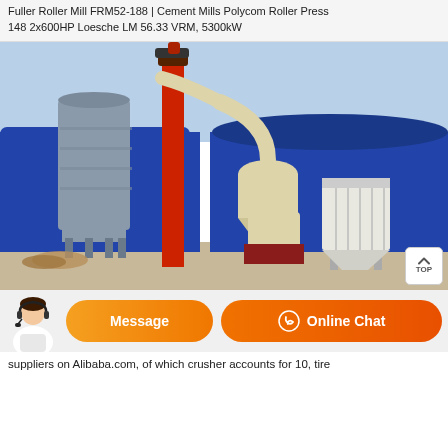Fuller Roller Mill FRM52-188 | Cement Mills Polycom Roller Press 148 2x600HP Loesche LM 56.33 VRM, 5300kW
[Figure (photo): Industrial milling equipment installation outdoors against blue warehouse walls — large grey silo on the left, red vertical elevator conveyor in the center, cream-colored cyclone separator and roller mill unit, and a bag filter on the right, on a dirt/concrete ground.]
[Figure (screenshot): Orange gradient chat bar with a customer service avatar photo on the left, a 'Message' button and an 'Online Chat' button with headset icon on the right.]
suppliers on Alibaba.com, of which crusher accounts for 10, tire